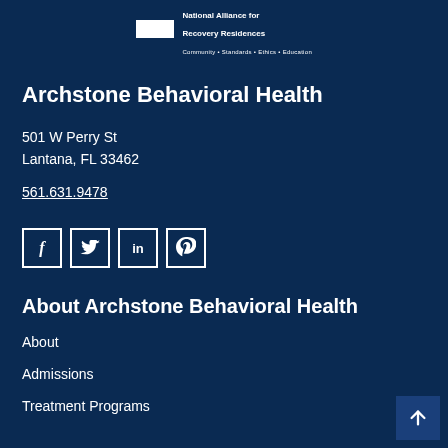National Alliance for Recovery Residences — Community • Standards • Ethics • Education
Archstone Behavioral Health
501 W Perry St
Lantana, FL 33462
561.631.9478
[Figure (other): Social media icon buttons: Facebook (f), Twitter (bird/t), LinkedIn (in), Pinterest (p)]
About Archstone Behavioral Health
About
Admissions
Treatment Programs